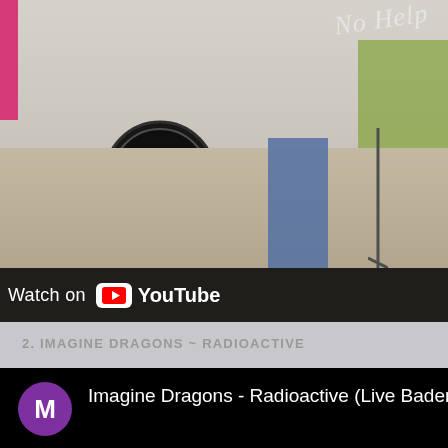[Figure (screenshot): YouTube video embed showing a live music performance with a drum kit and performers visible, with a 'Watch on YouTube' bar at the bottom of the video.]
2. IMAGINE DRAGONS ~ RADIOACTIVE
[Figure (screenshot): YouTube video embed for 'Imagine Dragons - Radioactive (Live Baden Bad...)' with a purple avatar circle showing the letter M, video area is black/loading.]